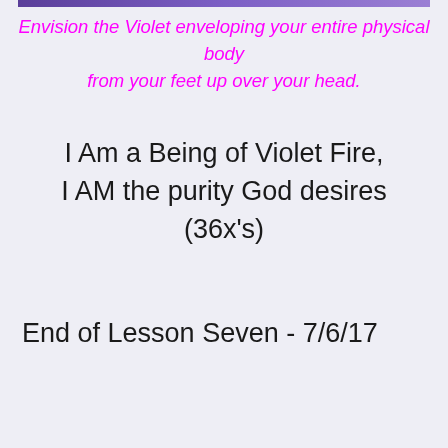[Figure (other): Purple gradient horizontal bar at the top of the page]
Envision the Violet enveloping your entire physical body from your feet up over your head.
I Am a Being of Violet Fire,
I AM the purity God desires (36x's)
End of Lesson Seven - 7/6/17